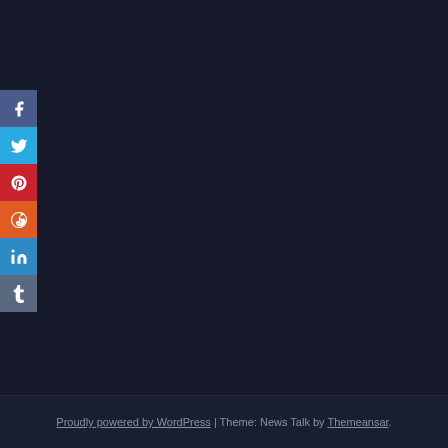[Figure (infographic): Social media sharing buttons sidebar on dark navy background: Facebook (blue-gray), Twitter (light blue), Pinterest (red), Reddit (orange-red), LinkedIn (blue), Tumblr (slate gray)]
Proudly powered by WordPress | Theme: News Talk by Themeansar.